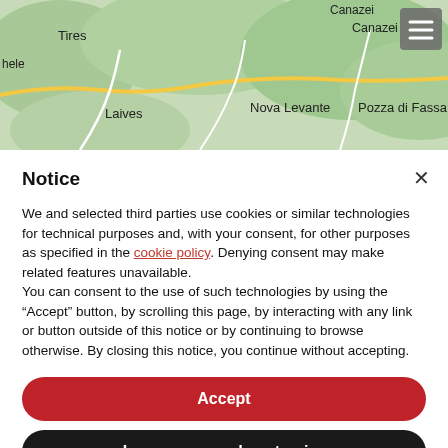[Figure (map): Map showing region of northern Italy with place names: Tires, Canazei, hele, Nova Levante, Laives, Pozza di Fassa. Terrain map with green hills, roads in yellow and white, and a hamburger menu icon in top right.]
Notice
We and selected third parties use cookies or similar technologies for technical purposes and, with your consent, for other purposes as specified in the cookie policy. Denying consent may make related features unavailable.
You can consent to the use of such technologies by using the “Accept” button, by scrolling this page, by interacting with any link or button outside of this notice or by continuing to browse otherwise. By closing this notice, you continue without accepting.
Accept
Learn more and customize